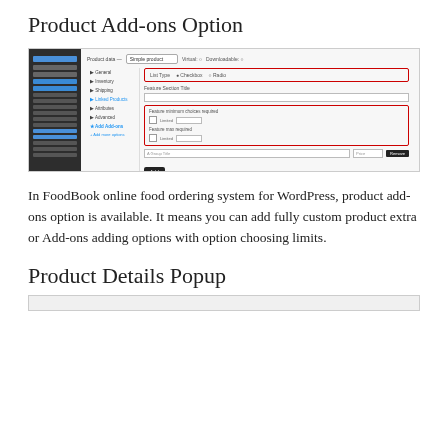Product Add-ons Option
[Figure (screenshot): WordPress WooCommerce product editor screenshot showing Product Add-ons configuration with List Type set to Checkbox, feature minimum/maximum required options, and buttons for Add, Remove Group, and Add Group.]
In FoodBook online food ordering system for WordPress, product add-ons option is available. It means you can add fully custom product extra or Add-ons adding options with option choosing limits.
Product Details Popup